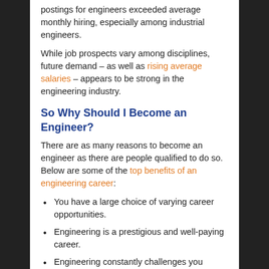postings for engineers exceeded average monthly hiring, especially among industrial engineers.
While job prospects vary among disciplines, future demand – as well as rising average salaries – appears to be strong in the engineering industry.
So Why Should I Become an Engineer?
There are as many reasons to become an engineer as there are people qualified to do so. Below are some of the top benefits of an engineering career:
You have a large choice of varying career opportunities.
Engineering is a prestigious and well-paying career.
Engineering constantly challenges you intellectually.
As the world changes, engineering spurs your creativity.
Engineering provides tangible results so you can see and take pride in the things you create.